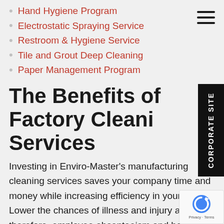Hand Hygiene Program
Electrostatic Spraying Service
Restroom & Hygiene Service
Tile and Grout Deep Cleaning
Paper Management Program
The Benefits of Factory Cleaning Services
Investing in Enviro-Master's manufacturing cleaning services saves your company time and money while increasing efficiency in your facility. Lower the chances of illness and injury and, therefore, employee absenteeism and boost employee morale with sanitary and pleasant, clean surroundings!